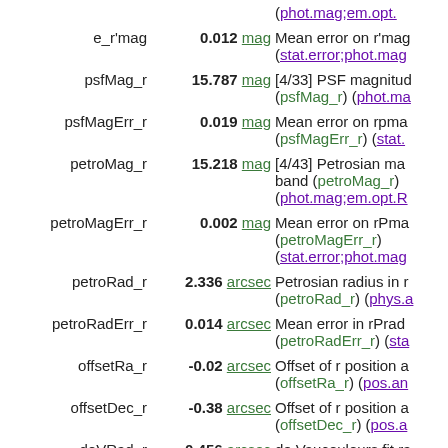| Name | Value | Description |
| --- | --- | --- |
|  |  | (phot.mag;em.opt. |
| e_r'mag | 0.012 mag | Mean error on r'mag (stat.error;phot.mag |
| psfMag_r | 15.787 mag | [4/33] PSF magnitude (psfMag_r) (phot.ma |
| psfMagErr_r | 0.019 mag | Mean error on rpmag (psfMagErr_r) (stat. |
| petroMag_r | 15.218 mag | [4/43] Petrosian map band (petroMag_r) (phot.mag;em.opt.R |
| petroMagErr_r | 0.002 mag | Mean error on rPma (petroMagErr_r) (stat.error;phot.mag |
| petroRad_r | 2.336 arcsec | Petrosian radius in r (petroRad_r) (phys.a |
| petroRadErr_r | 0.014 arcsec | Mean error in rPrad (petroRadErr_r) (sta |
| offsetRa_r | -0.02 arcsec | Offset of r position a (offsetRa_r) (pos.an |
| offsetDec_r | -0.38 arcsec | Offset of r position a (offsetDec_r) (pos.a |
| deVRad_r | 0.456 arcsec | de Vaucouleurs fit ra (deVRad_r) (phys.a |